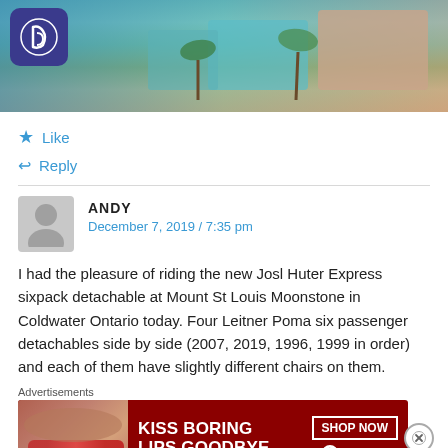[Figure (photo): Aerial or elevated photo of a resort/hotel building with teal roofs surrounded by palm trees and tropical landscaping. A Disney-style badge is visible in the top-left corner.]
★ Like
↩ Reply
ANDY
December 7, 2019 / 7:35 pm
I had the pleasure of riding the new Josl Huter Express sixpack detachable at Mount St Louis Moonstone in Coldwater Ontario today. Four Leitner Poma six passenger detachables side by side (2007, 2019, 1996, 1999 in order) and each of them have slightly different chairs on them.
Advertisements
[Figure (photo): Advertisement banner for Macy's: 'KISS BORING LIPS GOODBYE' with a woman's face showing red lips, SHOP NOW button, and Macy's star logo on dark red background.]